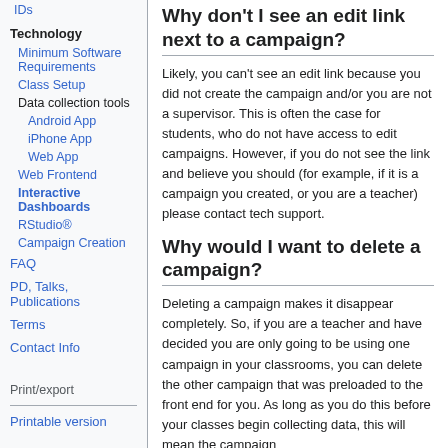IDs
Technology
Minimum Software Requirements
Class Setup
Data collection tools
Android App
iPhone App
Web App
Web Frontend
Interactive Dashboards
RStudio®
Campaign Creation
FAQ
PD, Talks, Publications
Terms
Contact Info
Print/export
Printable version
Why don't I see an edit link next to a campaign?
Likely, you can't see an edit link because you did not create the campaign and/or you are not a supervisor. This is often the case for students, who do not have access to edit campaigns. However, if you do not see the link and believe you should (for example, if it is a campaign you created, or you are a teacher) please contact tech support.
Why would I want to delete a campaign?
Deleting a campaign makes it disappear completely. So, if you are a teacher and have decided you are only going to be using one campaign in your classrooms, you can delete the other campaign that was preloaded to the front end for you. As long as you do this before your classes begin collecting data, this will mean the campaign